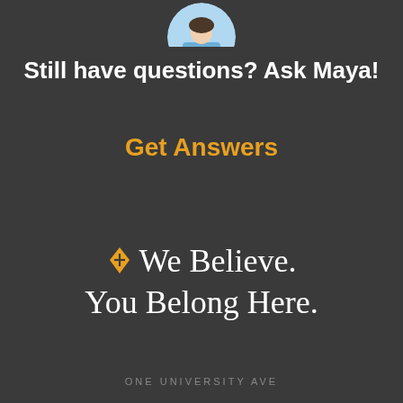[Figure (photo): Partial circular avatar photo of a person (Maya) in blue clothing, cropped at top of page]
Still have questions? Ask Maya!
Get Answers
We Believe. You Belong Here.
ONE UNIVERSITY AVE